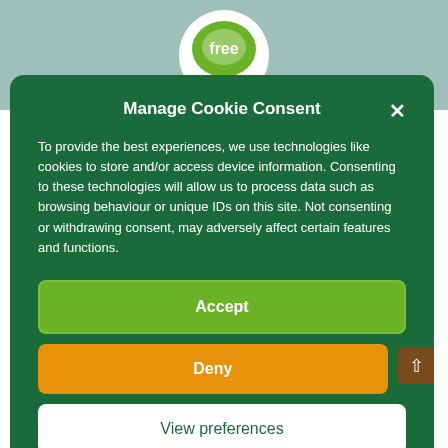[Figure (logo): Partial logo with green leaf/speech bubble and text 'free' on white circular background, on teal/muted green background]
Manage Cookie Consent
To provide the best experiences, we use technologies like cookies to store and/or access device information. Consenting to these technologies will allow us to process data such as browsing behaviour or unique IDs on this site. Not consenting or withdrawing consent, may adversely affect certain features and functions.
Accept
Deny
View preferences
Cookie Policy   Privacy Statement